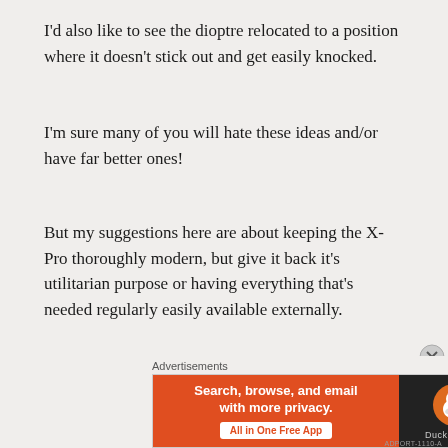I'd also like to see the dioptre relocated to a position where it doesn't stick out and get easily knocked.
I'm sure many of you will hate these ideas and/or have far better ones!
But my suggestions here are about keeping the X-Pro thoroughly modern, but give it back it's utilitarian purpose or having everything that's needed regularly easily available externally.
Personally, I also feel that a flip out screen, albeit a simple one, would be a big help to certain shooting conditions
But, as I mentioned last week – I'd also like to see a return to
Advertisements
[Figure (other): DuckDuckGo advertisement banner: orange left panel reading 'Search, browse, and email with more privacy. All in One Free App' with dark right panel showing DuckDuckGo duck logo and brand name.]